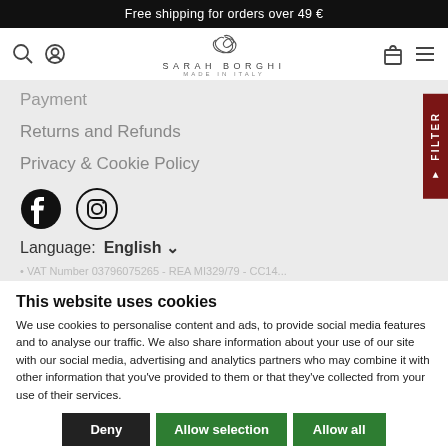Free shipping for orders over 49 €
[Figure (logo): Sarah Borghi Made in Italy logo with search, user, cart, and menu icons]
Payment
Returns and Refunds
Privacy & Cookie Policy
[Figure (infographic): Facebook and Instagram social media icons]
Language: English ▾
VAT Number 03796075265 - REA MI329/79 - CC14...
This website uses cookies
We use cookies to personalise content and ads, to provide social media features and to analyse our traffic. We also share information about your use of our site with our social media, advertising and analytics partners who may combine it with other information that you've provided to them or that they've collected from your use of their services.
Deny | Allow selection | Allow all